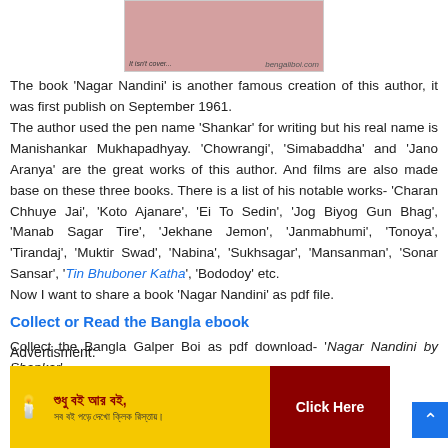[Figure (photo): Book cover image with pink/red texture, watermark 'bengaliboi.com' and text 'It isn't cover...']
The book 'Nagar Nandini' is another famous creation of this author, it was first publish on September 1961. The author used the pen name 'Shankar' for writing but his real name is Manishankar Mukhapadhyay. 'Chowrangi', 'Simabaddha' and 'Jano Aranya' are the great works of this author. And films are also made base on these three books. There is a list of his notable works- 'Charan Chhuye Jai', 'Koto Ajanare', 'Ei To Sedin', 'Jog Biyog Gun Bhag', 'Manab Sagar Tire', 'Jekhane Jemon', 'Janmabhumi', 'Tonoya', 'Tirandaj', 'Muktir Swad', 'Nabina', 'Sukhsagar', 'Mansanman', 'Sonar Sansar', 'Tin Bhuboner Katha', 'Bododoy' etc. Now I want to share a book 'Nagar Nandini' as pdf file.
Collect or Read the Bangla ebook
Collect the Bangla Galper Boi as pdf download- 'Nagar Nandini by Shankar'
Advertisment:
[Figure (photo): Yellow advertisement banner with Bengali text and a 'Click Here' button in dark red]